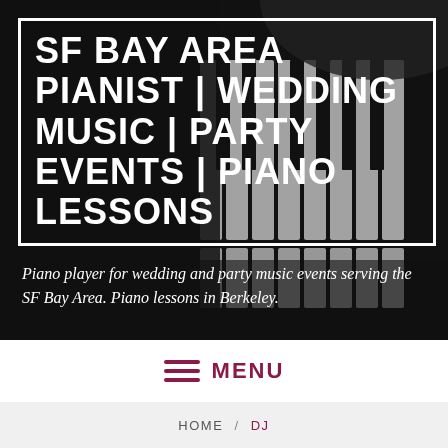[Figure (photo): Dark background photo of piano keys, black and white keys visible at an angle, serving as hero background image]
SF BAY AREA PIANIST | WEDDING MUSIC | PARTY EVENTS | PIANO LESSONS
Piano player for wedding and party music events serving the SF Bay Area. Piano lessons in Berkeley.
MENU
HOME / DJ